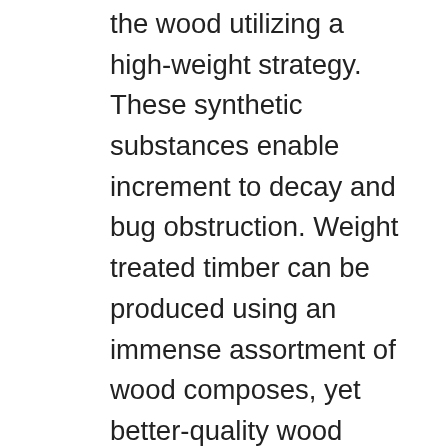the wood utilizing a high-weight strategy. These synthetic substances enable increment to decay and bug obstruction. Weight treated timber can be produced using an immense assortment of wood composes, yet better-quality wood makes a superior quality outcome. This alternative still should be fixed and kept up for the best life expectancy. Numerous assortments of weight treated wood accompany a restricted lifetime guarantee, yet the life expectancy alluded to under the guarantee may mean anything from 20 to 50 years. Less expensive weight treated wood needs to dry out once introduced and before being fixed, while higher quality choices might be furnace dried when the treatment procedure. As weight treated wood dries, either after introductory establishment or substantial rain, it can twist and psychologist, making not as much as alluring outcomes.